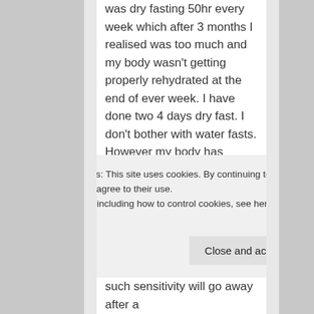was dry fasting 50hr every week which after 3 months I realised was too much and my body wasn't getting properly rehydrated at the end of ever week. I have done two 4 days dry fast. I don't bother with water fasts. However my body has become really sensitive to many things which are unhealthy, which I know is a good thing as I have a total clean diet with no junk food whatsoever even occasionally. But It can get rather annoying at times because I get a headache or get tingling feeling whenever I eat or
Privacy & Cookies: This site uses cookies. By continuing to use this website, you agree to their use.
To find out more, including how to control cookies, see here: Cookie Policy
such sensitivity will go away after a